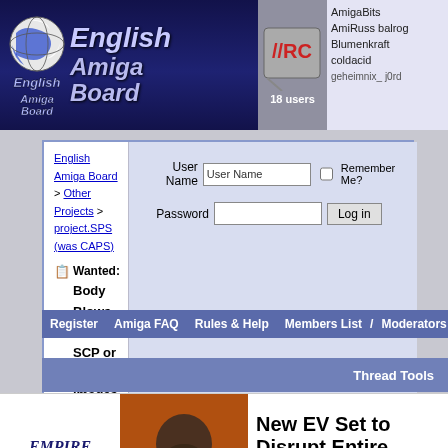English Amiga Board — IRC: 18 users — AmigaBits AmiRuss balrog Blumenkraft coldacid geheimnix_ j0rd
English Amiga Board > Other Projects > project.SPS (was CAPS) > Wanted: Body Blows v1 - SCP or IPF images
User Name | Password | Remember Me? | Log in
Register  Amiga FAQ  Rules & Help  Members List / Moderators List  Too
Thread Tools
[Figure (screenshot): Advertisement for Empire Financial Research — New EV Set to Disrupt Entire Industry — LEARN MORE]
19 August 2020, 19:29  #1
solarmon
Registered User
Wanted: Body Blows v1 - SCP or IPF images